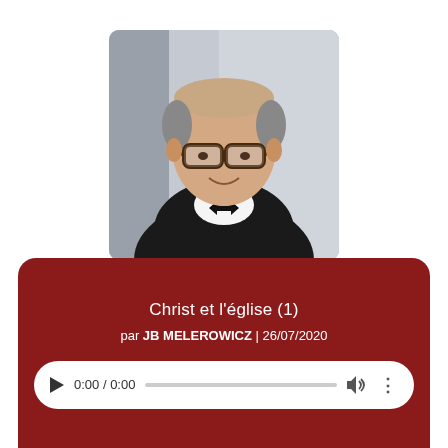[Figure (photo): Portrait photo of a middle-aged man with glasses and a bow tie, wearing a dark suit jacket, smiling slightly, with a light background.]
Christ et l'église (1)
par JB MELEROWICZ | 26/07/2020
[Figure (screenshot): Audio player widget showing 0:00 / 0:00 with play button, progress bar, volume icon, and more options icon.]